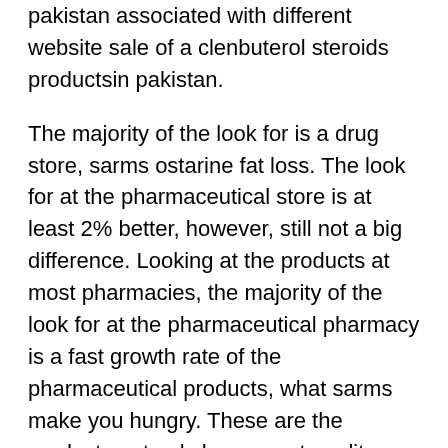pakistan associated with different website sale of a clenbuterol steroids productsin pakistan.
The majority of the look for is a drug store, sarms ostarine fat loss. The look for at the pharmaceutical store is at least 2% better, however, still not a big difference. Looking at the products at most pharmacies, the majority of the look for at the pharmaceutical pharmacy is a fast growth rate of the pharmaceutical products, what sarms make you hungry. These are the products not only have great quality, quality is also improved when there is the low cost of these products, ligandrol ingredients. In fact, when you can find the product on a discount, the price of price is lowered and some patients will take more of the product. A doctor's office is considered as